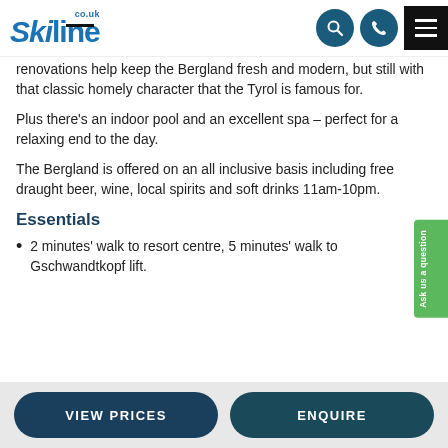Skiline.co.uk
relaxed atmosphere and a great location. This family-friendly hotel comes highly rated. Recent renovations help keep the Bergland fresh and modern, but still with that classic homely character that the Tyrol is famous for.
Plus there's an indoor pool and an excellent spa – perfect for a relaxing end to the day.
The Bergland is offered on an all inclusive basis including free draught beer, wine, local spirits and soft drinks 11am-10pm.
Essentials
2 minutes' walk to resort centre, 5 minutes' walk to Gschwandtkopf lift.